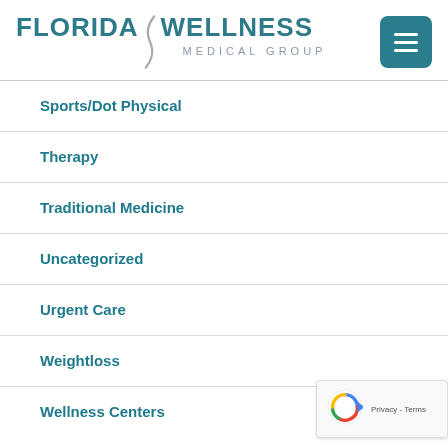[Figure (logo): Florida Wellness Medical Group logo with teal text and decorative curve, plus teal hamburger menu button]
Sports/Dot Physical
Therapy
Traditional Medicine
Uncategorized
Urgent Care
Weightloss
Wellness Centers